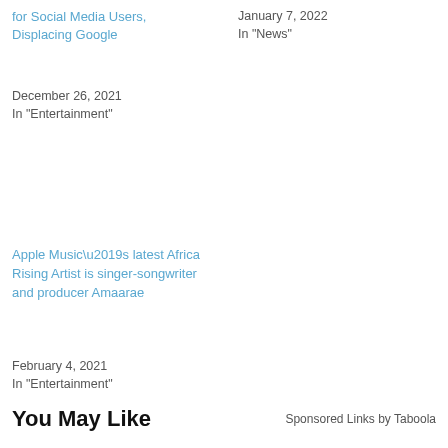for Social Media Users, Displacing Google
December 26, 2021
In "Entertainment"
January 7, 2022
In "News"
Apple Music’s latest Africa Rising Artist is singer-songwriter and producer Amaarae
February 4, 2021
In "Entertainment"
You May Like
Sponsored Links by Taboola